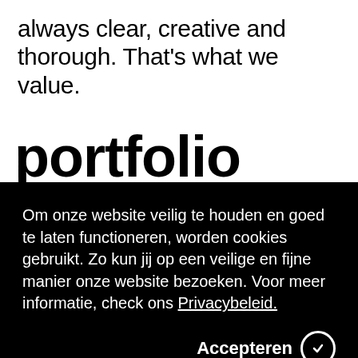always clear, creative and thorough. That's what we value.
portfolio
Om onze website veilig te houden en goed te laten functioneren, worden cookies gebruikt. Zo kun jij op een veilige en fijne manier onze website bezoeken. Voor meer informatie, check ons Privacybeleid.
Accepteren ⊙